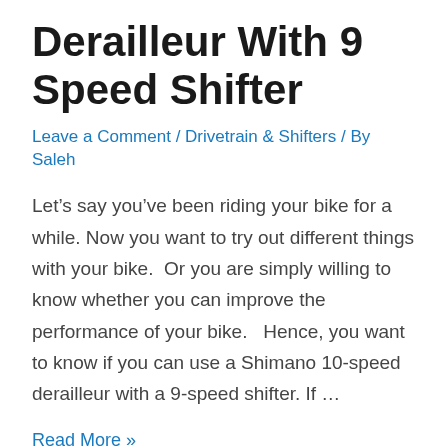Derailleur With 9 Speed Shifter
Leave a Comment / Drivetrain & Shifters / By Saleh
Let’s say you’ve been riding your bike for a while. Now you want to try out different things with your bike.  Or you are simply willing to know whether you can improve the performance of your bike.   Hence, you want to know if you can use a Shimano 10-speed derailleur with a 9-speed shifter. If …
Read More »